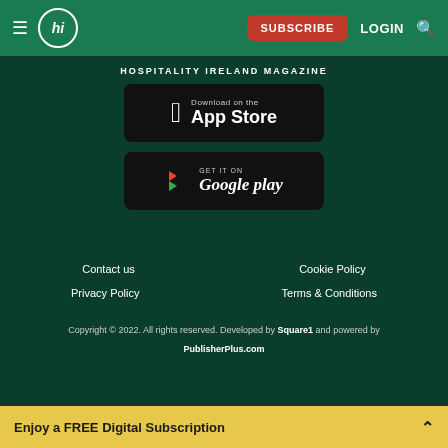Hospitality Ireland Magazine website header with navigation: hamburger menu, hi logo, SUBSCRIBE button, LOGIN, search icon
HOSPITALITY IRELAND MAGAZINE
[Figure (screenshot): Download on the App Store badge (black rounded rectangle with Apple logo and text)]
[Figure (screenshot): Get it on Google Play badge (black rounded rectangle with Google Play triangle icon and text)]
Contact us
Cookie Policy
Privacy Policy
Terms & Conditions
Copyright © 2022. All rights reserved. Developed by Square1 and powered by PublisherPlus.com
Enjoy a FREE Digital Subscription